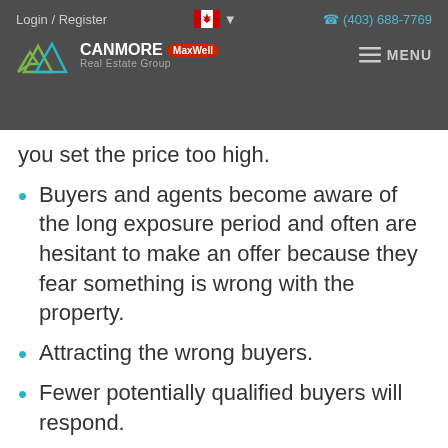Login / Register  (403) 688-7769  CANMORE Real Estate Group MaxWell  MENU
you set the price too high.
Buyers and agents become aware of the long exposure period and often are hesitant to make an offer because they fear something is wrong with the property.
Attracting the wrong buyers.
Fewer potentially qualified buyers will respond.
You might help sell similar homes that are priced low.
You could lose money as a result of making extra